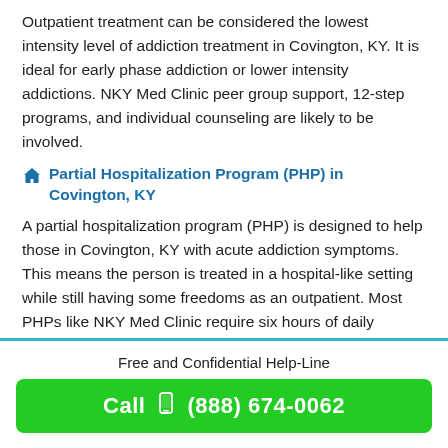Outpatient treatment can be considered the lowest intensity level of addiction treatment in Covington, KY. It is ideal for early phase addiction or lower intensity addictions. NKY Med Clinic peer group support, 12-step programs, and individual counseling are likely to be involved.
Partial Hospitalization Program (PHP) in Covington, KY
A partial hospitalization program (PHP) is designed to help those in Covington, KY with acute addiction symptoms. This means the person is treated in a hospital-like setting while still having some freedoms as an outpatient. Most PHPs like NKY Med Clinic require six hours of daily therapy and three days per week of group or individual counseling. If desired, they may sleep onsite or go home (but all participants are monitored more than any other type). These plans usually last one month but can be extended to six
Free and Confidential Help-Line
Call (888) 674-0062